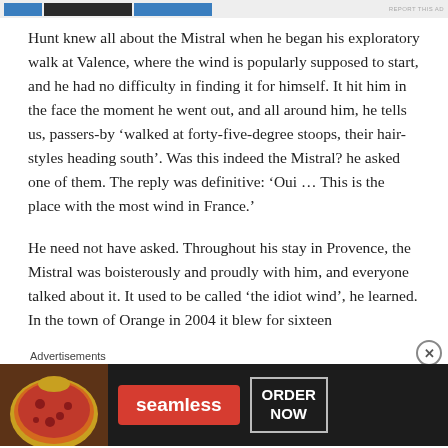[Figure (other): Top advertisement banner with blue and dark colored blocks]
Hunt knew all about the Mistral when he began his exploratory walk at Valence, where the wind is popularly supposed to start, and he had no difficulty in finding it for himself. It hit him in the face the moment he went out, and all around him, he tells us, passers-by ‘walked at forty-five-degree stoops, their hair-styles heading south’. Was this indeed the Mistral? he asked one of them. The reply was definitive: ‘Oui … This is the place with the most wind in France.’
He need not have asked. Throughout his stay in Provence, the Mistral was boisterously and proudly with him, and everyone talked about it. It used to be called ‘the idiot wind’, he learned. In the town of Orange in 2004 it blew for sixteen
Advertisements
[Figure (other): Seamless food delivery advertisement banner with pizza image, seamless logo in red, and ORDER NOW button]